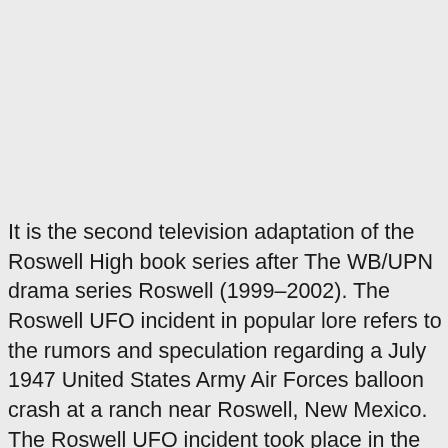It is the second television adaptation of the Roswell High book series after The WB/UPN drama series Roswell (1999–2002). The Roswell UFO incident in popular lore refers to the rumors and speculation regarding a July 1947 United States Army Air Forces balloon crash at a ranch near Roswell, New Mexico. The Roswell UFO incident took place in the summer of 1947, when a rancher discovered unidentifiable debris in his sheep pasture outside Roswell, New Mexico. But when he comes across a piece of mysterious multi-colored glass, he has to trace